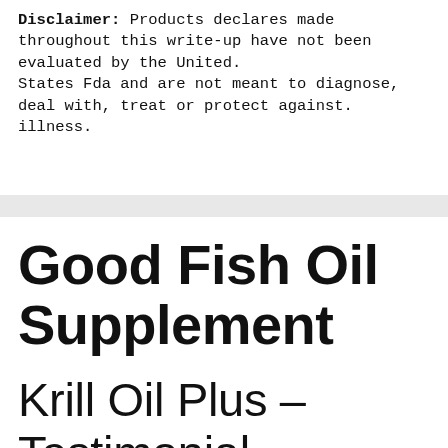Disclaimer: Products declares made throughout this write-up have not been evaluated by the United. States Fda and are not meant to diagnose, deal with, treat or protect against. illness.
Good Fish Oil Supplement
Krill Oil Plus – Testimonial